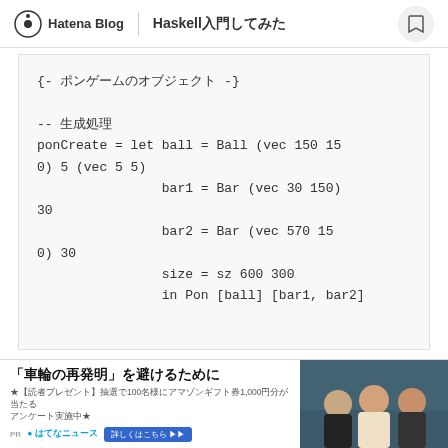Hatena Blog | Haskell入門してみた
[Figure (screenshot): Haskell code block showing ponCreate function with let bindings for ball, bar1, bar2, size and in expression]
[Figure (photo): Advertisement banner: 「車輪の再発明」を避けるために with photo of people]